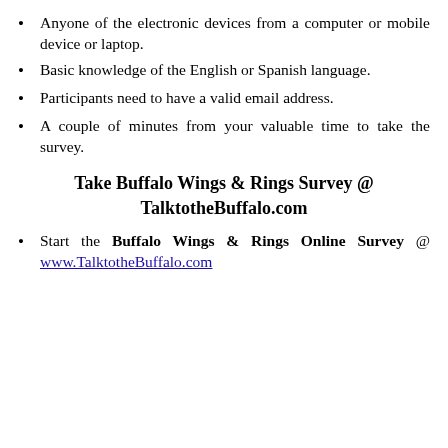Anyone of the electronic devices from a computer or mobile device or laptop.
Basic knowledge of the English or Spanish language.
Participants need to have a valid email address.
A couple of minutes from your valuable time to take the survey.
Take Buffalo Wings & Rings Survey @ TalktotheBuffalo.com
Start the Buffalo Wings & Rings Online Survey @ www.TalktotheBuffalo.com